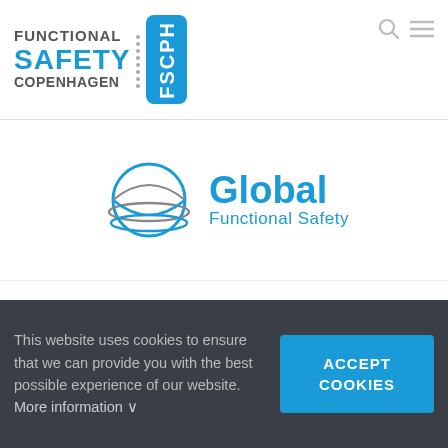[Figure (logo): Functional Safety Copenhagen (FSCPH) logo with blue text and dotted separator and blue rounded badge]
[Figure (logo): Global Functional Safety company logo with globe graphic and blue text]
Global Functional Safety ApS
– also named 'GFS', is a Danish engineering company whose main task is to support customers with all aspects of Functional Safety related to processes,
This website uses cookies to ensure that we can provide you with the best possible experience of our website. More information ∨
ACCEPT COOKIES